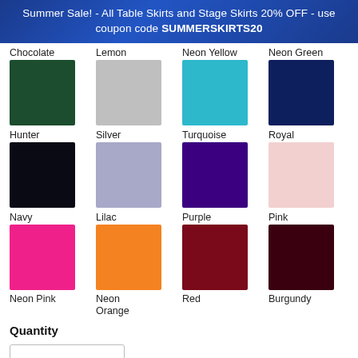Summer Sale! - All Table Skirts and Stage Skirts 20% OFF - use coupon code SUMMERSKIRTS20
[Figure (other): Color swatch grid showing 12 fabric colors: Chocolate (dark green), Lemon (light gray), Neon Yellow (turquoise/teal), Neon Green (dark navy), Hunter (black), Silver (lilac/light purple), Turquoise (dark purple), Royal (light pink), Navy (neon pink), Lilac (orange), Purple (dark red), Pink (dark burgundy/maroon), Neon Pink, Neon Orange, Red, Burgundy]
Quantity
1
ADD TO CART